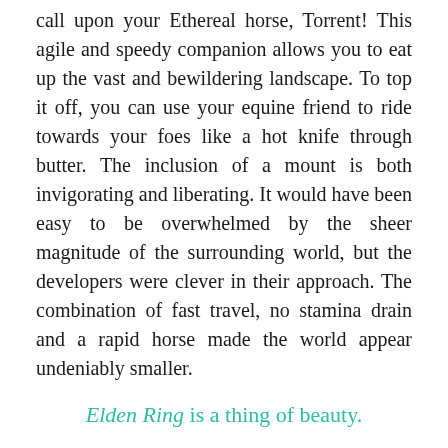call upon your Ethereal horse, Torrent! This agile and speedy companion allows you to eat up the vast and bewildering landscape. To top it off, you can use your equine friend to ride towards your foes like a hot knife through butter. The inclusion of a mount is both invigorating and liberating. It would have been easy to be overwhelmed by the sheer magnitude of the surrounding world, but the developers were clever in their approach. The combination of fast travel, no stamina drain and a rapid horse made the world appear undeniably smaller.
Elden Ring is a thing of beauty.
I don't need good graphics to make a game, but damn, Elden Ring is incredible. Its attention to